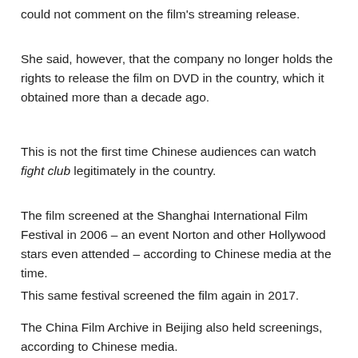could not comment on the film's streaming release.
She said, however, that the company no longer holds the rights to release the film on DVD in the country, which it obtained more than a decade ago.
This is not the first time Chinese audiences can watch fight club legitimately in the country.
The film screened at the Shanghai International Film Festival in 2006 – an event Norton and other Hollywood stars even attended – according to Chinese media at the time.
This same festival screened the film again in 2017.
The China Film Archive in Beijing also held screenings, according to Chinese media.
CNN Business did not attend these events and therefore cannot